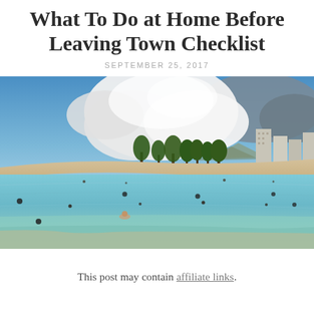What To Do at Home Before Leaving Town Checklist
SEPTEMBER 25, 2017
[Figure (photo): Hawaiian beach scene with turquoise water, white sand, palm trees, distant mountains, high-rise buildings on the right, and large clouds in a blue sky. People are swimming and playing in the calm lagoon.]
This post may contain affiliate links.